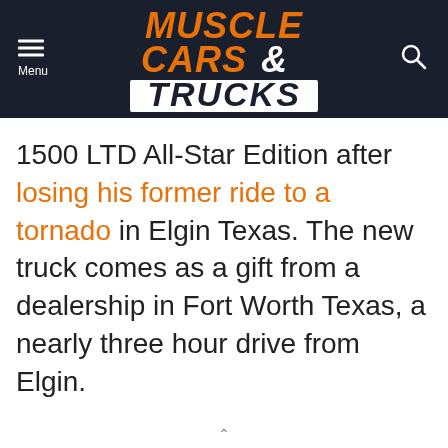Muscle Cars & Trucks
1500 LTD All-Star Edition after losing his former ride to a tornado in Elgin Texas. The new truck comes as a gift from a dealership in Fort Worth Texas, a nearly three hour drive from Elgin.